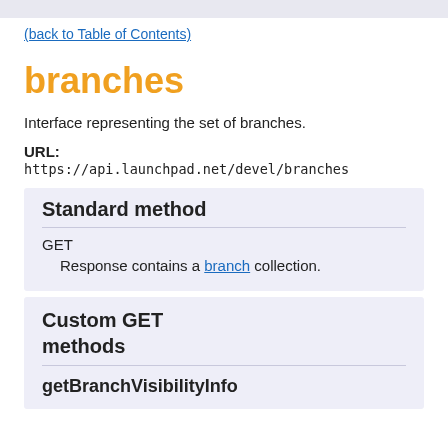(back to Table of Contents)
branches
Interface representing the set of branches.
URL:
https://api.launchpad.net/devel/branches
Standard method
GET
Response contains a branch collection.
Custom GET methods
getBranchVisibilityInfo